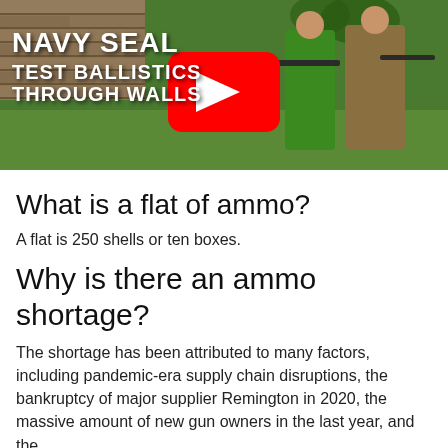[Figure (screenshot): YouTube video thumbnail showing two people with rifles outdoors, with text overlay reading 'NAVY SEAL TEST BALLISTICS THROUGH WALLS' and a YouTube play button icon]
What is a flat of ammo?
A flat is 250 shells or ten boxes.
Why is there an ammo shortage?
The shortage has been attributed to many factors, including pandemic-era supply chain disruptions, the bankruptcy of major supplier Remington in 2020, the massive amount of new gun owners in the last year, and the